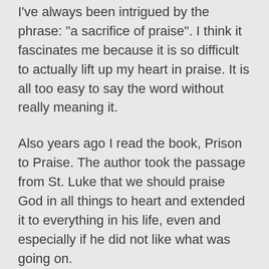I've always been intrigued by the phrase: "a sacrifice of praise". I think it fascinates me because it is so difficult to actually lift up my heart in praise. It is all too easy to say the word without really meaning it.
Also years ago I read the book, Prison to Praise. The author took the passage from St. Luke that we should praise God in all things to heart and extended it to everything in his life, even and especially if he did not like what was going on.
But if we are supposed to acquire the Holy Spirit and in the process allow Him to sanctify through us, it seems living a life of thanksgiving and praise would be just as effective as “Keep your mind in hell and don’t despair”. But maybe they are the